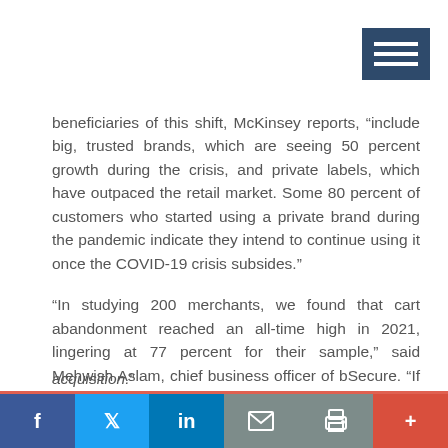[Figure (other): Hamburger menu icon — three horizontal white lines on a dark navy background, positioned top-right corner]
beneficiaries of this shift, McKinsey reports, “include big, trusted brands, which are seeing 50 percent growth during the crisis, and private labels, which have outpaced the retail market. Some 80 percent of customers who started using a private brand during the pandemic indicate they intend to continue using it once the COVID-19 crisis subsides.”
“In studying 200 merchants, we found that cart abandonment reached an all-time high in 2021, lingering at 77 percent for their sample,” said Mehwish Aslam, chief business officer of bSecure. “If users of the e-commerce site or app are experiencing difficulties or distractions during the checkout journey, they may never return. This only drives up the cost of customer acquisition.”
[Figure (other): Social media sharing bar at bottom: Facebook (blue), Twitter (light blue), LinkedIn (dark blue), Email (grey), Print (grey), Plus/more (red-orange)]